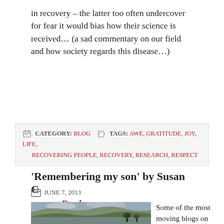in recovery – the latter too often undercover for fear it would bias how their science is received… (a sad commentary on our field and how society regards this disease…)
Read More →
CATEGORY: BLOG   TAGS: AWE, GRATITUDE, JOY, LIFE, RECOVERING PEOPLE, RECOVERY, RESEARCH, RESPECT
'Remembering my son' by Susan C
JUNE 7, 2013
[Figure (photo): Landscape photograph of a Scottish loch or coastal scene with hills and mountains in the background, water in the foreground, under a cloudy sky.]
Some of the most moving blogs on Wired In To Recovery were from Susan C who lost her loving son Michael from a heroin overdose in 2010…